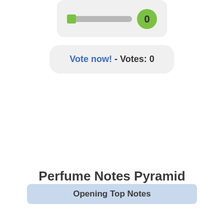[Figure (other): A slider widget with a green square thumb at the left end of a gray track, and a green circle badge showing '0' on the right.]
Vote now! - Votes: 0
Perfume Notes Pyramid
Opening Top Notes